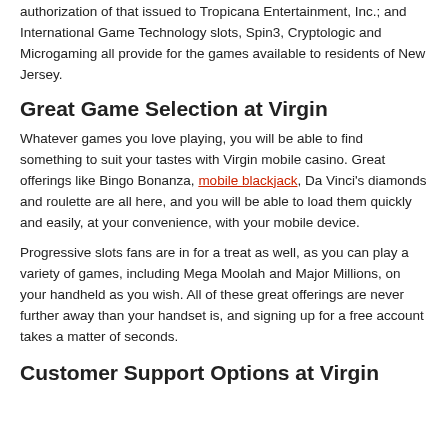authorization of that issued to Tropicana Entertainment, Inc.; and International Game Technology slots, Spin3, Cryptologic and Microgaming all provide for the games available to residents of New Jersey.
Great Game Selection at Virgin
Whatever games you love playing, you will be able to find something to suit your tastes with Virgin mobile casino. Great offerings like Bingo Bonanza, mobile blackjack, Da Vinci's diamonds and roulette are all here, and you will be able to load them quickly and easily, at your convenience, with your mobile device.
Progressive slots fans are in for a treat as well, as you can play a variety of games, including Mega Moolah and Major Millions, on your handheld as you wish. All of these great offerings are never further away than your handset is, and signing up for a free account takes a matter of seconds.
Customer Support Options at Virgin